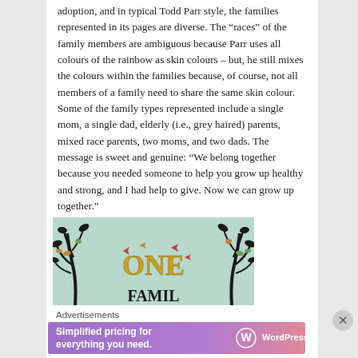adoption, and in typical Todd Parr style, the families represented in its pages are diverse. The “races” of the family members are ambiguous because Parr uses all colours of the rainbow as skin colours – but, he still mixes the colours within the families because, of course, not all members of a family need to share the same skin colour. Some of the family types represented include a single mom, a single dad, elderly (i.e., grey haired) parents, mixed race parents, two moms, and two dads. The message is sweet and genuine: “We belong together because you needed someone to help you grow up healthy and strong, and I had help to give. Now we can grow up together.”
[Figure (illustration): Book cover showing 'ONE FAMILY' text with decorative trees and colorful leaves on a light teal background]
Advertisements
[Figure (screenshot): WordPress.com advertisement banner: 'Simplified pricing for everything you need.' with WordPress.com logo on gradient purple/pink background]